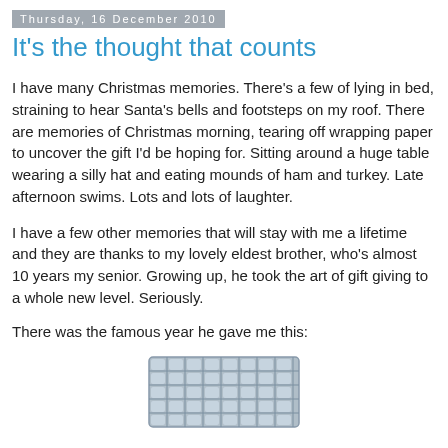Thursday, 16 December 2010
It's the thought that counts
I have many Christmas memories. There's a few of lying in bed, straining to hear Santa's bells and footsteps on my roof. There are memories of Christmas morning, tearing off wrapping paper to uncover the gift I'd be hoping for. Sitting around a huge table wearing a silly hat and eating mounds of ham and turkey. Late afternoon swims. Lots and lots of laughter.
I have a few other memories that will stay with me a lifetime and they are thanks to my lovely eldest brother, who's almost 10 years my senior. Growing up, he took the art of gift giving to a whole new level. Seriously.
There was the famous year he gave me this:
[Figure (photo): A blue/grey milk crate or similar wire crate, partially visible at the bottom of the page]